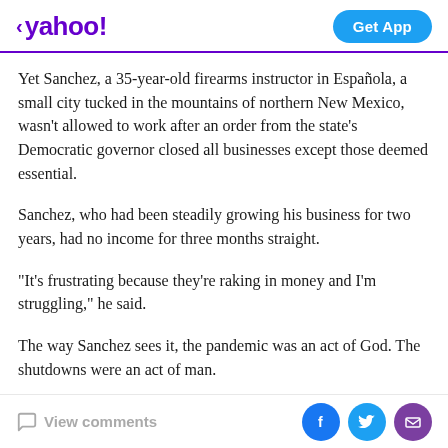< yahoo! | Get App
Yet Sanchez, a 35-year-old firearms instructor in Española, a small city tucked in the mountains of northern New Mexico, wasn't allowed to work after an order from the state's Democratic governor closed all businesses except those deemed essential.
Sanchez, who had been steadily growing his business for two years, had no income for three months straight.
“It’s frustrating because they’re raking in money and I’m struggling,” he said.
The way Sanchez sees it, the pandemic was an act of God. The shutdowns were an act of man.
View comments